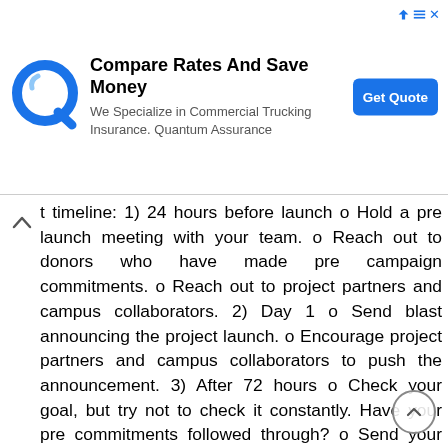[Figure (infographic): Advertisement banner: Compare Rates And Save Money. We Specialize in Commercial Trucking Insurance. Quantum Assurance. Get Quote button. Q logo icon.]
t timeline: 1) 24 hours before launch o Hold a pre launch meeting with your team. o Reach out to donors who have made pre campaign commitments. o Reach out to project partners and campus collaborators. 2) Day 1 o Send blast announcing the project launch. o Encourage project partners and campus collaborators to push the announcement. 3) After 72 hours o Check your goal, but try not to check it constantly. Have your pre commitments followed through? o Send your first update to donors. Keep them engaged in the first 3 days. 4) After 1 week o Send an update to those who have not donated. 5) Week 3 and on o Continue to create urgency and push toward your final goal. 6) Throughout the campaign o Meet with your team regularly; listen for feedback and ideas. o Post updates to social media and send s. o Thank donors and ask them to share your campaign to their networks. POST CAMPAIGN 1. Thank your donors! Send personal or handwritten thank you notes or make thank you phone calls